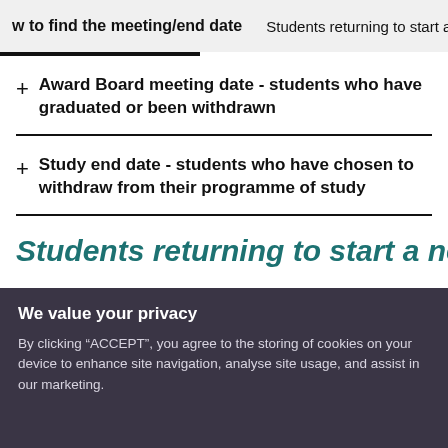w to find the meeting/end date   Students returning to start a ne
Award Board meeting date - students who have graduated or been withdrawn
Study end date - students who have chosen to withdraw from their programme of study
Students returning to start a new
We value your privacy
By clicking “ACCEPT”, you agree to the storing of cookies on your device to enhance site navigation, analyse site usage, and assist in our marketing.